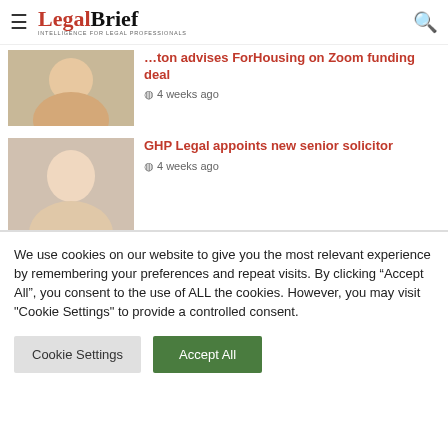LegalBrief — Intelligence for Legal Professionals
...ton advises ForHousing on Zoom funding deal — 4 weeks ago
GHP Legal appoints new senior solicitor — 4 weeks ago
Freshfields continues strategic growth with partner hire
We use cookies on our website to give you the most relevant experience by remembering your preferences and repeat visits. By clicking "Accept All", you consent to the use of ALL the cookies. However, you may visit "Cookie Settings" to provide a controlled consent.